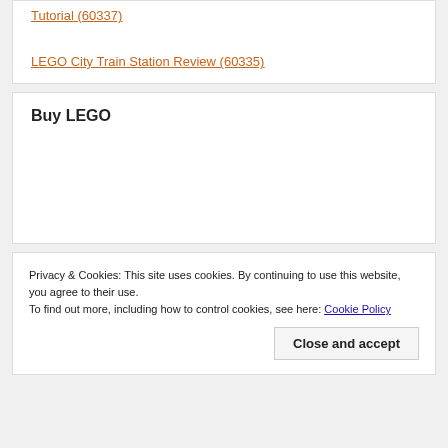Tutorial (60337)
LEGO City Train Station Review (60335)
Buy LEGO
Privacy & Cookies: This site uses cookies. By continuing to use this website, you agree to their use.
To find out more, including how to control cookies, see here: Cookie Policy
Close and accept